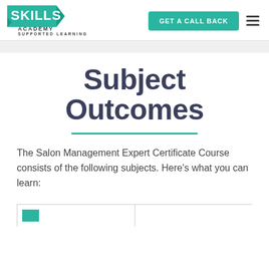[Figure (logo): Skills Academy Supported Learning logo — teal square with white SKILLS text and ribbon/arrow shapes, ACADEMY below, SUPPORTED LEARNING in small caps]
GET A CALL BACK
Subject Outcomes
The Salon Management Expert Certificate Course consists of the following subjects. Here's what you can learn: